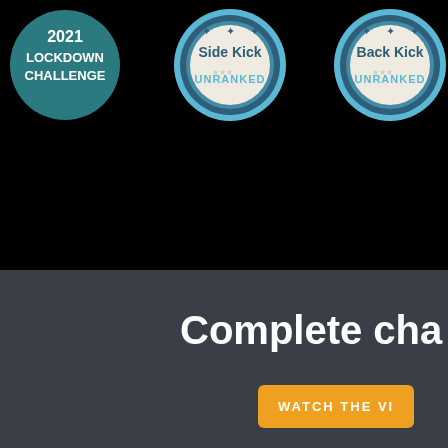[Figure (illustration): Dark background section showing three badges: a circular teal '2021 Lockdown Challenge' badge on the left, and two scalloped medal badges labeled 'Side Kick UNRANKED' and 'Back Kick UNRANKED' in the center and right]
Complete cha
[Figure (other): Orange button with text 'WATCH THE VI' (partially visible)]